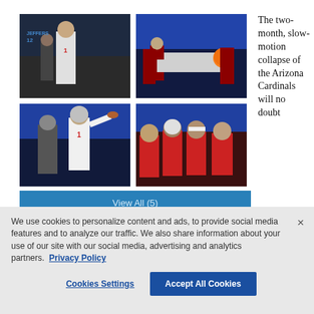[Figure (photo): Four sports photos in a 2x2 grid showing Arizona Cardinals football scenes: top-left shows a player in white Cardinals uniform with number 1 walking with staff; top-right shows a player being taken off field on a stretcher; bottom-left shows quarterback number 1 throwing a pass; bottom-right shows Cardinals players on bench looking dejected.]
The two-month, slow-motion collapse of the Arizona Cardinals will no doubt
View All (5)
We use cookies to personalize content and ads, to provide social media features and to analyze our traffic. We also share information about your use of our site with our social media, advertising and analytics partners. Privacy Policy
Cookies Settings
Accept All Cookies